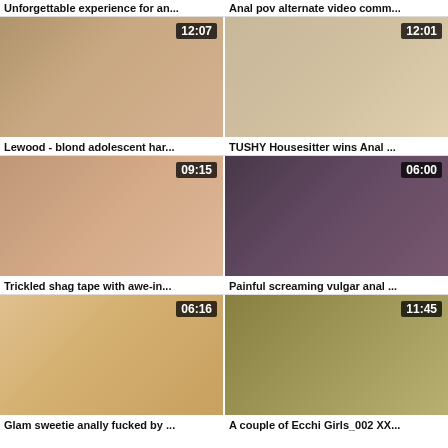Unforgettable experience for an...
Anal pov alternate video comm...
[Figure (photo): Video thumbnail with duration 12:07 - Lewood blond adolescent hardcore]
[Figure (photo): Video thumbnail with duration 12:01 - TUSHY Housesitter wins Anal]
Lewood - blond adolescent har...
TUSHY Housesitter wins Anal ...
[Figure (photo): Video thumbnail with duration 09:15 - Trickled shag tape with awe-inspiring]
[Figure (photo): Video thumbnail with duration 06:00 - Painful screaming vulgar anal]
Trickled shag tape with awe-in...
Painful screaming vulgar anal ...
[Figure (photo): Video thumbnail with duration 06:16 - Glam sweetie anally fucked by]
[Figure (photo): Video thumbnail with duration 11:45 - A couple of Ecchi Girls_002 XX...]
Glam sweetie anally fucked by ...
A couple of Ecchi Girls_002 XX...